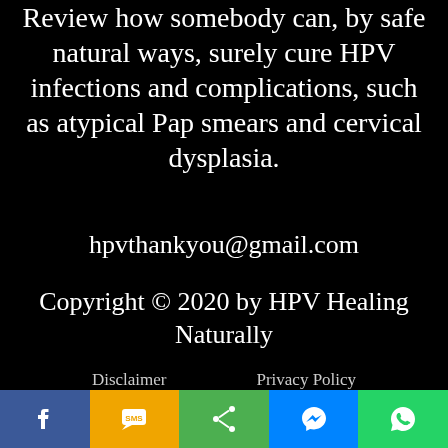Review how somebody can, by safe natural ways, surely cure HPV infections and complications, such as atypical Pap smears and cervical dysplasia.
hpvthankyou@gmail.com
Copyright © 2020 by HPV Healing Naturally
Disclaimer    Privacy Policy
Sitemap